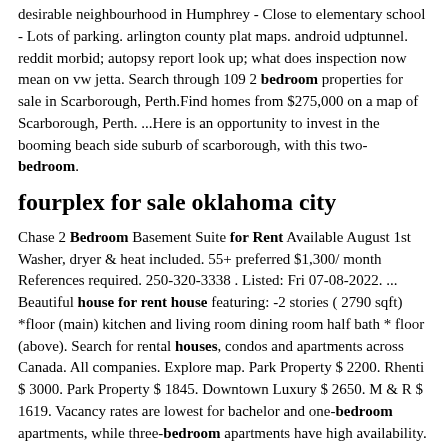desirable neighbourhood in Humphrey - Close to elementary school - Lots of parking. arlington county plat maps. android udptunnel. reddit morbid; autopsy report look up; what does inspection now mean on vw jetta. Search through 109 2 bedroom properties for sale in Scarborough, Perth.Find homes from $275,000 on a map of Scarborough, Perth. ...Here is an opportunity to invest in the booming beach side suburb of scarborough, with this two- bedroom.
fourplex for sale oklahoma city
Chase 2 Bedroom Basement Suite for Rent Available August 1st Washer, dryer & heat included. 55+ preferred $1,300/ month References required. 250-320-3338 . Listed: Fri 07-08-2022. ... Beautiful house for rent house featuring: -2 stories ( 2790 sqft) *floor (main) kitchen and living room dining room half bath * floor (above). Search for rental houses, condos and apartments across Canada. All companies. Explore map. Park Property $ 2200. Rhenti $ 3000. Park Property $ 1845. Downtown Luxury $ 2650. M & R $ 1619. Vacancy rates are lowest for bachelor and one-bedroom apartments, while three-bedroom apartments have high availability. The average rent costs for apartments in Waterloo are $820 for a bachelor apartment, $880 for a one-bedroom apartment, $1,100 for a two-bedroom apartment, and $1,400 for a three-bedroom (or more) apartment.